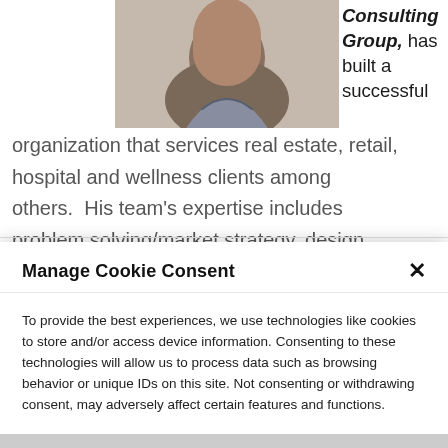[Figure (photo): Partial photo of a man in a gray and navy polo shirt, cropped at the top of the page]
Consulting Group, has built a successful organization that services real estate, retail, hospital and wellness clients among others.  His team's expertise includes problem solving/market strategy, design
Manage Cookie Consent
To provide the best experiences, we use technologies like cookies to store and/or access device information. Consenting to these technologies will allow us to process data such as browsing behavior or unique IDs on this site. Not consenting or withdrawing consent, may adversely affect certain features and functions.
ACCEPT